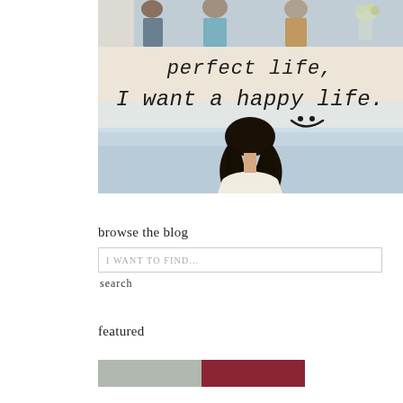[Figure (photo): Top portion of a photo showing people in a room, cropped at top, partially visible]
[Figure (photo): Inspirational quote image with beige/cream background showing handwritten text 'perfect life, I want a happy life.' with a smiley face, and a girl with long dark hair seen from behind looking at the ocean]
browse the blog
I WANT TO FIND...
search
featured
[Figure (photo): Two small featured image thumbnails at the bottom, one grey and one dark red/maroon]